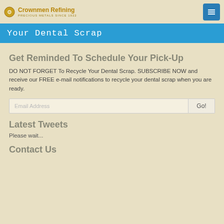Crownmen Refining PRECIOUS METALS SINCE 1922
Your Dental Scrap
Get Reminded To Schedule Your Pick-Up
DO NOT FORGET To Recycle Your Dental Scrap. SUBSCRIBE NOW and receive our FREE e-mail notifications to recycle your dental scrap when you are ready.
Email Address  Go!
Latest Tweets
Please wait...
Contact Us